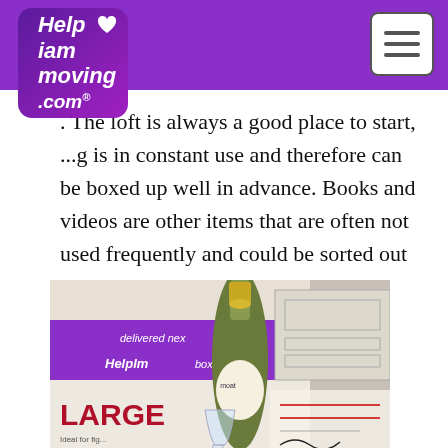[Figure (logo): Help I am moving .com logo — white italic bold text on purple rounded square, with white heart icon in top right]
. The loft is always a good place to start, ...g is in constant use and therefore can be boxed up well in advance. Books and videos are other items that are often not used frequently and could be sorted out and boxed.
[Figure (photo): Photo of a champagne bottle with a glass and a moving box labelled LARGE from helpiammoving.com boxes, with documents in background]